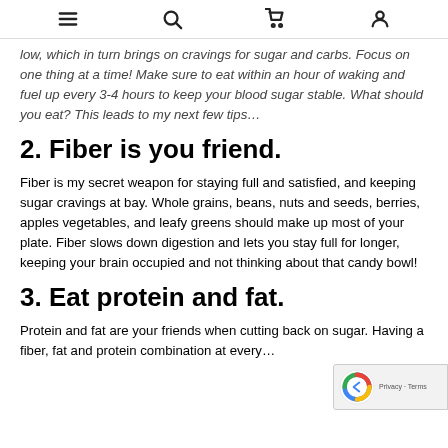[menu] [search] [cart] [account]
low, which in turn brings on cravings for sugar and carbs. Focus on one thing at a time! Make sure to eat within an hour of waking and fuel up every 3-4 hours to keep your blood sugar stable. What should you eat? This leads to my next few tips…
2. Fiber is you friend.
Fiber is my secret weapon for staying full and satisfied, and keeping sugar cravings at bay. Whole grains, beans, nuts and seeds, berries, apples vegetables, and leafy greens should make up most of your plate. Fiber slows down digestion and lets you stay full for longer, keeping your brain occupied and not thinking about that candy bowl!
3. Eat protein and fat.
Protein and fat are your friends when cutting back on sugar. Having a fiber, fat and protein combination at every…